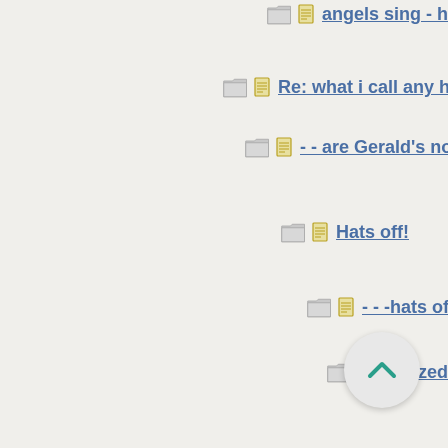angels sing - hark!
Re: what i call any ha...
- - are Gerald's nos...
Hats off!
- - -hats of: shi...
amazed fro...
something...
- - -inde...
anoth...
----...
r...
...